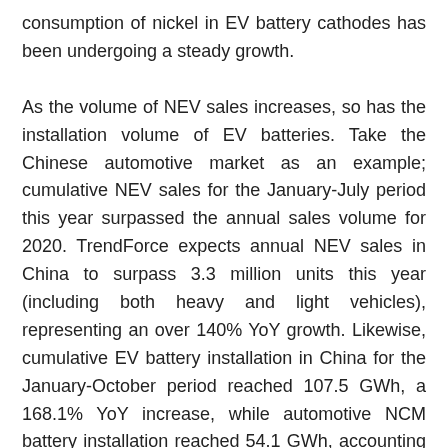consumption of nickel in EV battery cathodes has been undergoing a steady growth.
As the volume of NEV sales increases, so has the installation volume of EV batteries. Take the Chinese automotive market as an example; cumulative NEV sales for the January-July period this year surpassed the annual sales volume for 2020. TrendForce expects annual NEV sales in China to surpass 3.3 million units this year (including both heavy and light vehicles), representing an over 140% YoY growth. Likewise, cumulative EV battery installation in China for the January-October period reached 107.5 GWh, a 168.1% YoY increase, while automotive NCM battery installation reached 54.1 GWh, accounting for 50.3% of the total EV battery installation. These figures would suggest that the growth of the NEV market in